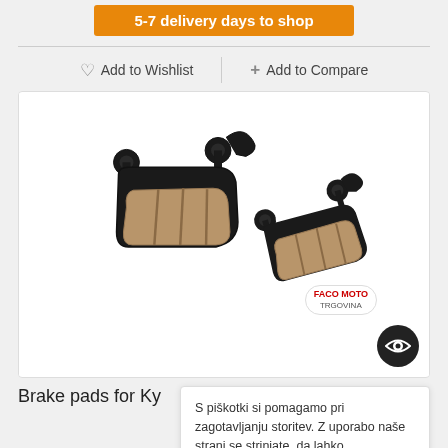5-7 delivery days to shop
♡ Add to Wishlist   + Add to Compare
[Figure (photo): Two motorcycle brake pads with black metal backing plates and brown friction material, shown side by side on white background. Watermark reading FACO MOTO TRGOVINA visible in lower right area.]
Brake pads for Ky
S piškotki si pomagamo pri zagotavljanju storitev. Z uporabo naše strani se strinjate, da lahko uporabljamo piškotke. V redu